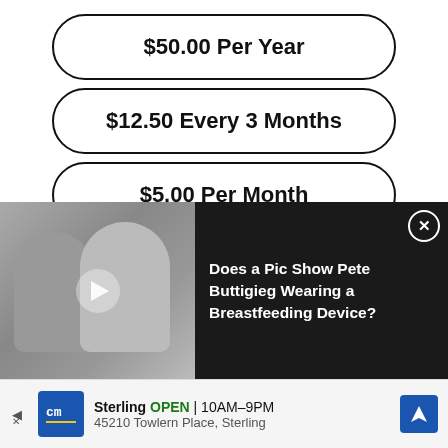$50.00 Per Year
$12.50 Every 3 Months
$5.00 Per Month
Choose your membership or see other ways to help.
Know another Snopes fan? Gift a membership
[Figure (screenshot): Video overlay with black background showing two men holding a baby (grayscale photo), play button, and text: Does a Pic Show Pete Buttigieg Wearing a Breastfeeding Device?]
[Figure (screenshot): Advertisement banner: cm logo, Sterling OPEN 10AM-9PM, 45210 Towlern Place, Sterling, with navigation arrow icon]